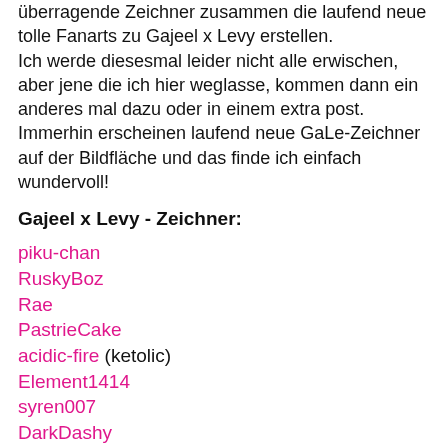überragende Zeichner zusammen die laufend neue tolle Fanarts zu Gajeel x Levy erstellen. Ich werde diesesmal leider nicht alle erwischen, aber jene die ich hier weglasse, kommen dann ein anderes mal dazu oder in einem extra post. Immerhin erscheinen laufend neue GaLe-Zeichner auf der Bildfläche und das finde ich einfach wundervoll!
Gajeel x Levy - Zeichner:
piku-chan
RuskyBoz
Rae
PastrieCake
acidic-fire (ketolic)
Element1414
syren007
DarkDashy
Lulu
eqqlo
Lala-chan64 (hat auch tolle Doujinshi!)
PieMakesMeHappy123
sorumanko (bis jetzt nur ein paar, aber der Zeichenstil ist der